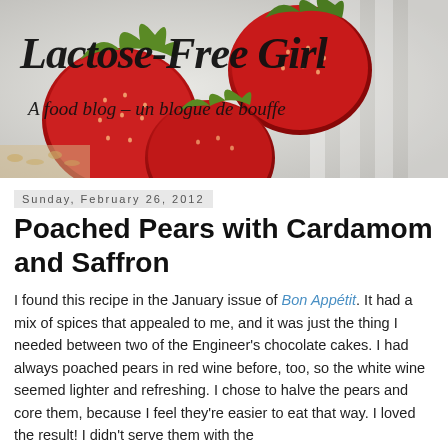[Figure (photo): Blog header banner with strawberries photo background and 'Lactose-Free Girl' handwritten logo text with subtitle 'A food blog – un blogue de bouffe']
Sunday, February 26, 2012
Poached Pears with Cardamom and Saffron
I found this recipe in the January issue of Bon Appétit. It had a mix of spices that appealed to me, and it was just the thing I needed between two of the Engineer's chocolate cakes. I had always poached pears in red wine before, too, so the white wine seemed lighter and refreshing. I chose to halve the pears and core them, because I feel they're easier to eat that way. I loved the result! I didn't serve them with the